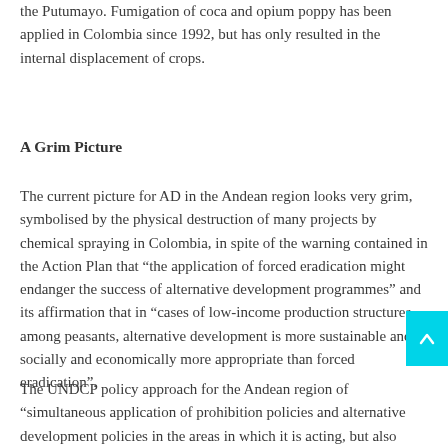the Putumayo. Fumigation of coca and opium poppy has been applied in Colombia since 1992, but has only resulted in the internal displacement of crops.
A Grim Picture
The current picture for AD in the Andean region looks very grim, symbolised by the physical destruction of many projects by chemical spraying in Colombia, in spite of the warning contained in the Action Plan that "the application of forced eradication might endanger the success of alternative development programmes" and its affirmation that in "cases of low-income production structures among peasants, alternative development is more sustainable and socially and economically more appropriate than forced eradication".
The UNDCP policy approach for the Andean region of "simultaneous application of prohibition policies and alternative development policies in the areas in which it is acting, but also the advisability of strictly separating the instruments, criteria and institutions relating to each one